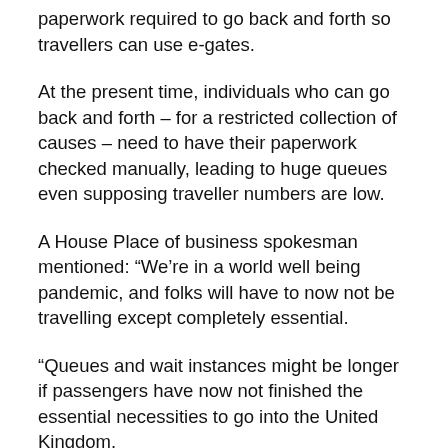paperwork required to go back and forth so travellers can use e-gates.
At the present time, individuals who can go back and forth – for a restricted collection of causes – need to have their paperwork checked manually, leading to huge queues even supposing traveller numbers are low.
A House Place of business spokesman mentioned: “We’re in a world well being pandemic, and folks will have to now not be travelling except completely essential.
“Queues and wait instances might be longer if passengers have now not finished the essential necessities to go into the United Kingdom.